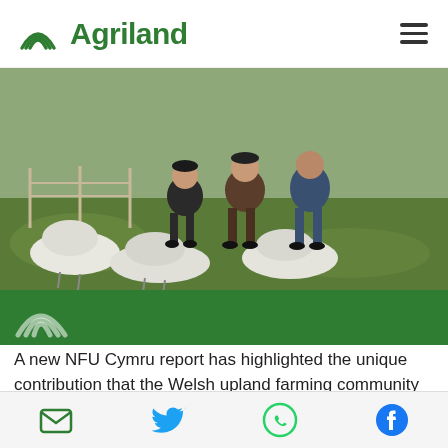Agriland
[Figure (photo): Three farmers sitting outdoors on/near sheep in a grassy upland field with fence in background]
A new NFU Cymru report has highlighted the unique contribution that the Welsh upland farming community makes to food security, environment, the economy, rural communities and the Welsh language.
The NFU Cymru Vision for Welsh Upland Farming